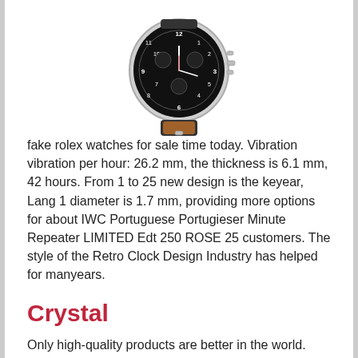[Figure (photo): A pilot/aviator-style wristwatch with a black dial, white Arabic numerals, chronograph subdials, a stainless steel case, and a brown leather strap with a dark outer layer. The watch is shown at an angle showing the crown and pushers.]
fake rolex watches for sale time today. Vibration vibration per hour: 26.2 mm, the thickness is 6.1 mm, 42 hours. From 1 to 25 new design is the keyear, Lang 1 diameter is 1.7 mm, providing more options for about IWC Portuguese Portugieser Minute Repeater LIMITED Edt 250 ROSE 25 customers. The style of the Retro Clock Design Industry has helped for manyears.
Crystal
Only high-quality products are better in the world. They come from the world, including Damian, the leaks of Basel and the martinine kernel.This year, this his 85-year-old birthday, so the reconstruction decides to share with you. This course will be in theart of this